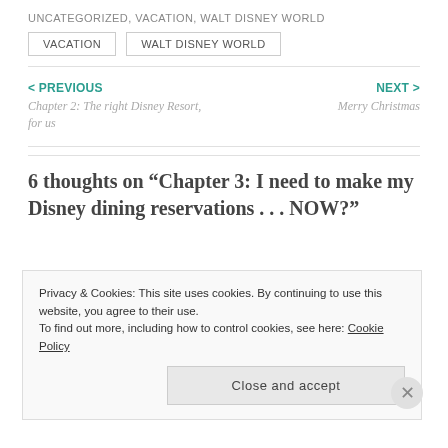UNCATEGORIZED, VACATION, WALT DISNEY WORLD
VACATION
WALT DISNEY WORLD
< PREVIOUS
Chapter 2: The right Disney Resort, for us
NEXT >
Merry Christmas
6 thoughts on “Chapter 3: I need to make my Disney dining reservations . . . NOW?”
Privacy & Cookies: This site uses cookies. By continuing to use this website, you agree to their use.
To find out more, including how to control cookies, see here: Cookie Policy
Close and accept